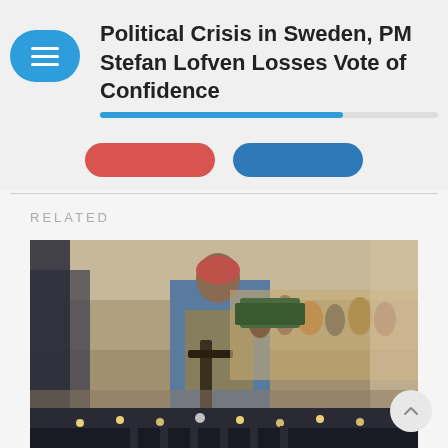Political Crisis in Sweden, PM Stefan Lofven Losses Vote of Confidence
RELATED
[Figure (photo): Armed fighter holding a rifle with crowd of people in background on a street, likely in Afghanistan]
Youth Shot Dead by Taliban, Dead Body Hung in Market
[Figure (photo): Night scene showing a lit-up building or market area]